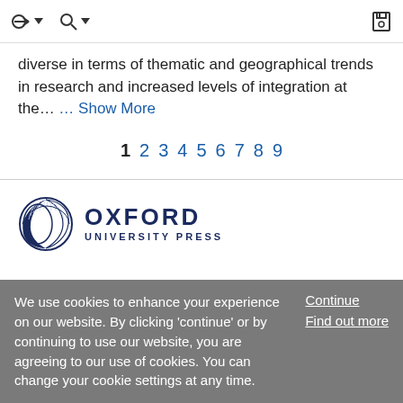diverse in terms of thematic and geographical trends in research and increased levels of integration at the… … Show More
1 2 3 4 5 6 7 8 9
[Figure (logo): Oxford University Press logo with circular emblem and text OXFORD UNIVERSITY PRESS in navy blue]
We use cookies to enhance your experience on our website. By clicking 'continue' or by continuing to use our website, you are agreeing to our use of cookies. You can change your cookie settings at any time.